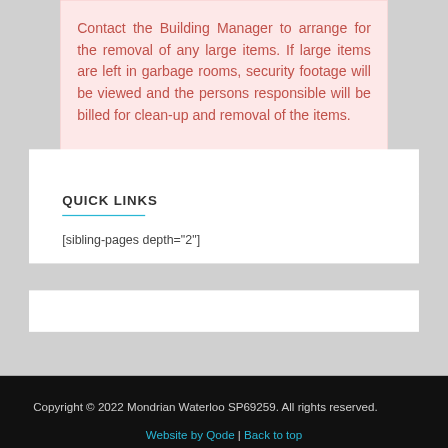Contact the Building Manager to arrange for the removal of any large items. If large items are left in garbage rooms, security footage will be viewed and the persons responsible will be billed for clean-up and removal of the items.
QUICK LINKS
[sibling-pages depth="2"]
Copyright © 2022 Mondrian Waterloo SP69259. All rights reserved.
Website by Qode | Back to top